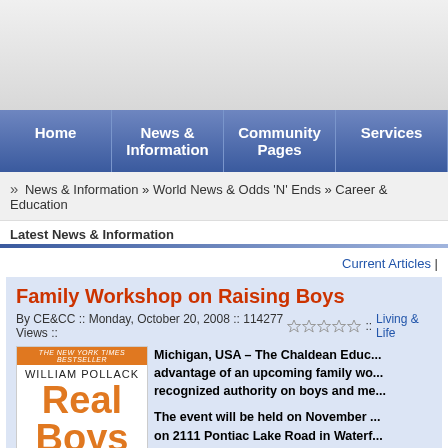[Figure (other): Gray header/banner area at top of webpage]
Home | News & Information | Community Pages | Services
News & Information » World News & Odds 'N' Ends » Career & Education
Latest News & Information
Current Articles |
Family Workshop on Raising Boys
By CE&CC :: Monday, October 20, 2008 :: 114277 Views :: [stars] :: Living & Life
[Figure (illustration): Book cover: Real Boys by William Pollack, New York Times Bestseller]
Michigan, USA – The Chaldean Educ... advantage of an upcoming family wo... recognized authority on boys and me...
The event will be held on November ... on 2111 Pontiac Lake Road in Waterf...
Dr. Pollack's presentation will addres...